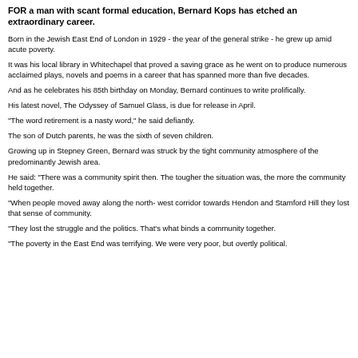FOR a man with scant formal education, Bernard Kops has etched an extraordinary career.
Born in the Jewish East End of London in 1929 - the year of the general strike - he grew up amid acute poverty.
It was his local library in Whitechapel that proved a saving grace as he went on to produce numerous acclaimed plays, novels and poems in a career that has spanned more than five decades.
And as he celebrates his 85th birthday on Monday, Bernard continues to write prolifically.
His latest novel, The Odyssey of Samuel Glass, is due for release in April.
"The word retirement is a nasty word," he said defiantly.
The son of Dutch parents, he was the sixth of seven children.
Growing up in Stepney Green, Bernard was struck by the tight community atmosphere of the predominantly Jewish area.
He said: "There was a community spirit then. The tougher the situation was, the more the community held together.
"When people moved away along the north- west corridor towards Hendon and Stamford Hill they lost that sense of community.
"They lost the struggle and the politics. That’s what binds a community together.
"The poverty in the East End was terrifying. We were very poor, but overtly political.